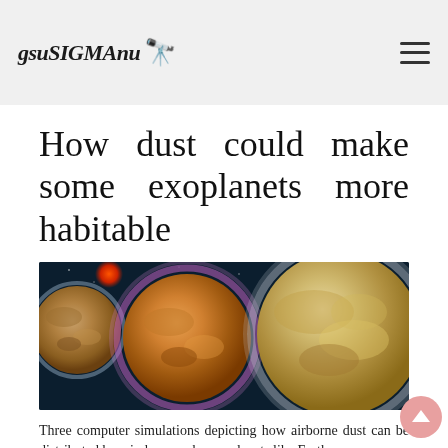gsuSIGMAnu
How dust could make some exoplanets more habitable
[Figure (illustration): Three computer simulations depicting how airborne dust can be distributed by winds on rocky exoplanets like Earth. Three planets shown side-by-side against a dark space background with a red star, each planet showing different dust distribution patterns with colored atmospheric hazes.]
Three computer simulations depicting how airborne dust can be distributed by winds on rocky exoplanets like Earth